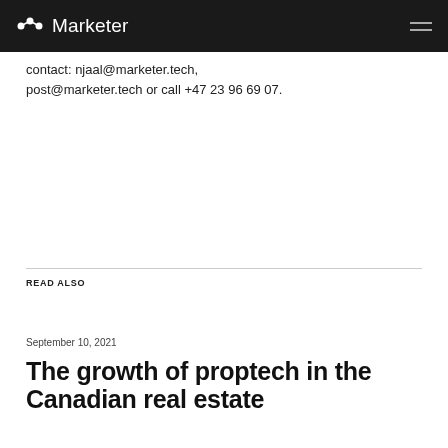Marketer
contact: njaal@marketer.tech, post@marketer.tech or call +47 23 96 69 07.
READ ALSO
September 10, 2021
The growth of proptech in the Canadian real estate